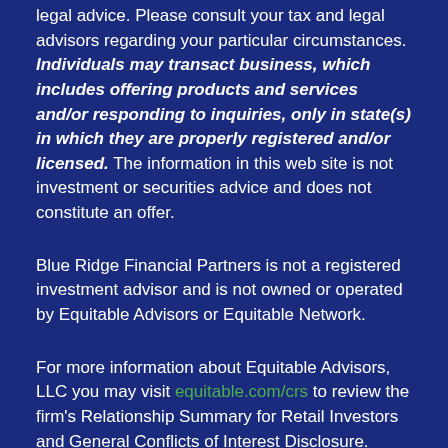legal advice. Please consult your tax and legal advisors regarding your particular circumstances. Individuals may transact business, which includes offering products and services and/or responding to inquiries, only in state(s) in which they are properly registered and/or licensed. The information in this web site is not investment or securities advice and does not constitute an offer.
Blue Ridge Financial Partners is not a registered investment advisor and is not owned or operated by Equitable Advisors or Equitable Network.
For more information about Equitable Advisors, LLC you may visit equitable.com/crs to review the firm's Relationship Summary for Retail Investors and General Conflicts of Interest Disclosure. Equitable Advisors and Equitable Network are brand names for Equitable Advisors, LLC and Equitable Network, LLC, respectively.